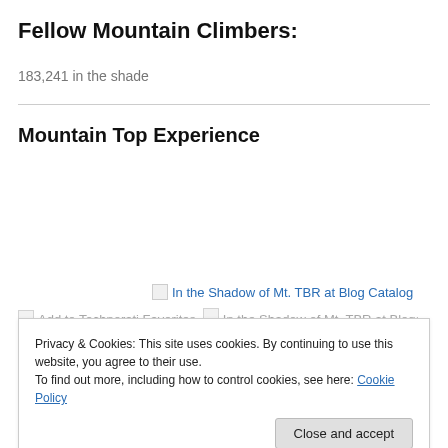Fellow Mountain Climbers:
183,241 in the shade
Mountain Top Experience
[Figure (other): Website Grade widget showing a score of 95 for thekoolaidmom.... powered by WebsiteGrader]
In the Shadow of Mt. TBR at Blog Catalog
Add to Technorati Favorites | In the Shadow of Mt. TBR at Blogge...
Privacy & Cookies: This site uses cookies. By continuing to use this website, you agree to their use. To find out more, including how to control cookies, see here: Cookie Policy
Close and accept